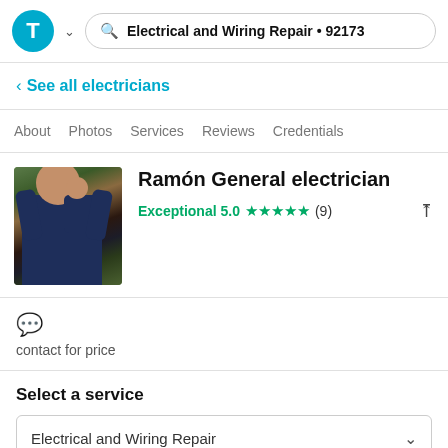Electrical and Wiring Repair • 92173
See all electricians
About  Photos  Services  Reviews  Credentials
[Figure (photo): Profile photo of Ramon, a man holding a child outdoors under a pergola]
Ramón General electrician
Exceptional 5.0 ★★★★★ (9)
contact for price
Select a service
Electrical and Wiring Repair